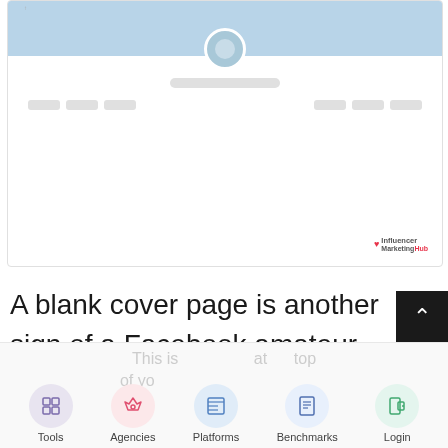[Figure (screenshot): Partial screenshot of a Facebook profile page mockup showing a blue cover area, an avatar/profile photo placeholder in the center, a name bar placeholder, and navigation button placeholders. An Influencer Marketing Hub watermark is in the bottom right.]
A blank cover page is another sign of a Facebook amateur. Another common mistake is trying to shoehorn a photo of the wrong dimensions into acting as your cover page, which either distorts the contents of the image or requires you to crop it undesirably
[Figure (screenshot): Bottom navigation bar of a website showing five nav items with circular icons: Tools (grid icon, purple background), Agencies (rocket icon, pink background), Platforms (layout icon, blue background), Benchmarks (document icon, blue background), Login (door icon, green background). Behind the nav bar is faded text.]